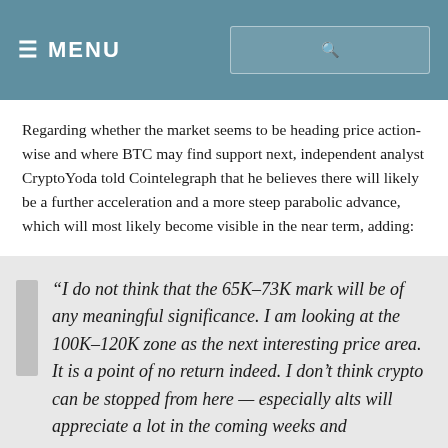☰ MENU
Regarding whether the market seems to be heading price action-wise and where BTC may find support next, independent analyst CryptoYoda told Cointelegraph that he believes there will likely be a further acceleration and a more steep parabolic advance, which will most likely become visible in the near term, adding:
“I do not think that the 65K–73K mark will be of any meaningful significance. I am looking at the 100K–120K zone as the next interesting price area. It is a point of no return indeed. I don’t think crypto can be stopped from here — especially alts will appreciate a lot in the coming weeks and